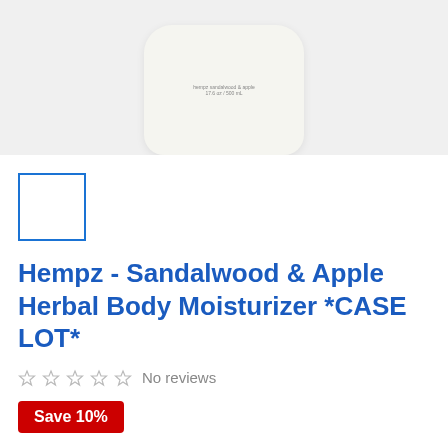[Figure (photo): Product image area showing a white/cream pump bottle of Hempz body moisturizer on a light grey background]
[Figure (photo): Small thumbnail image box with blue border (empty/placeholder)]
Hempz - Sandalwood & Apple Herbal Body Moisturizer *CASE LOT*
No reviews
Save 10%
HEMPZ   |   SKU: 110-2092-02-C